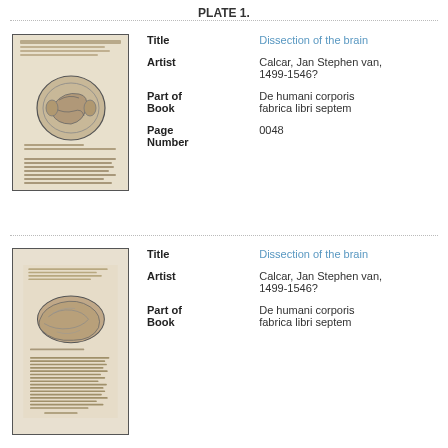PLATE 1.
[Figure (illustration): Thumbnail of a historical anatomical book page showing a dissection of the brain illustration with surrounding text]
| Title | Dissection of the brain |
| Artist | Calcar, Jan Stephen van, 1499-1546? |
| Part of Book | De humani corporis fabrica libri septem |
| Page Number | 0048 |
[Figure (illustration): Thumbnail of a historical anatomical book page showing another dissection of the brain illustration with surrounding text]
| Title | Dissection of the brain |
| Artist | Calcar, Jan Stephen van, 1499-1546? |
| Part of Book | De humani corporis fabrica libri septem |